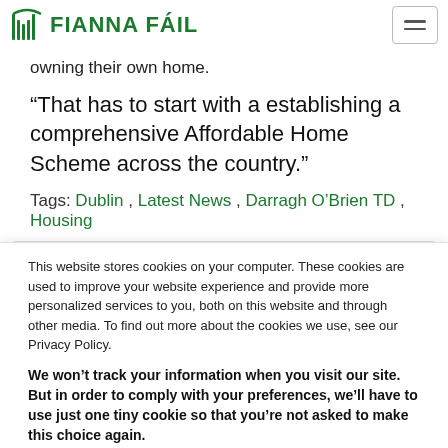FIANNA FÁIL
owning their own home.
“That has to start with a establishing a comprehensive Affordable Home Scheme across the country.”
Tags: Dublin , Latest News , Darragh O’Brien TD , Housing
[Figure (screenshot): Partially visible box with text 'Connect with' partially visible at bottom]
This website stores cookies on your computer. These cookies are used to improve your website experience and provide more personalized services to you, both on this website and through other media. To find out more about the cookies we use, see our Privacy Policy.
We won’t track your information when you visit our site. But in order to comply with your preferences, we’ll have to use just one tiny cookie so that you’re not asked to make this choice again.